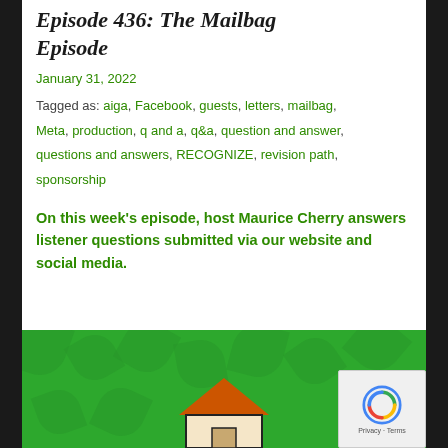Episode 436: The Mailbag Episode
January 31, 2022
Tagged as: aiga, Facebook, guests, letters, mailbag, Meta, production, q and a, q&a, question and answer, questions and answers, RECOGNIZE, revision path, sponsorship
On this week's episode, host Maurice Cherry answers listener questions submitted via our website and social media.
[Figure (illustration): Green background with decorative leaf pattern and a house illustration at the bottom center. A reCAPTCHA widget overlay in the bottom-right corner showing the reCAPTCHA logo and 'Privacy - Terms' text.]